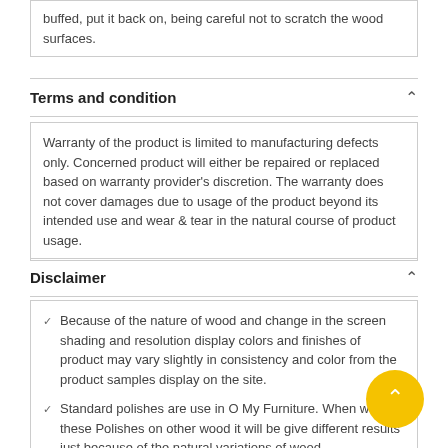buffed, put it back on, being careful not to scratch the wood surfaces.
Terms and condition
Warranty of the product is limited to manufacturing defects only. Concerned product will either be repaired or replaced based on warranty provider's discretion. The warranty does not cover damages due to usage of the product beyond its intended use and wear & tear in the natural course of product usage.
Disclaimer
Because of the nature of wood and change in the screen shading and resolution display colors and finishes of product may vary slightly in consistency and color from the product samples display on the site.
Standard polishes are use in O My Furniture. When we apply these Polishes on other wood it will be give different results just because of the natural variations of wood.